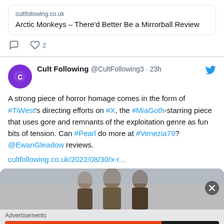cultfollowing.co.uk
Arctic Monkeys – There'd Better Be a Mirrorball Review
[Figure (screenshot): Tweet action icons: comment and heart with count 2]
Cult Following @CultFollowing3 · 23h
A strong piece of horror homage comes in the form of #TiWest's directing efforts on #X, the #MiaGoth-starring piece that uses gore and remnants of the exploitation genre as fun bits of tension. Can #Pearl do more at #Venezia79? @EwanGleadow reviews.
cultfollowing.co.uk/2022/08/30/x-r...
[Figure (photo): Partial image preview of people, possibly a movie still]
Advertisements
[Figure (screenshot): DuckDuckGo advertisement banner: Search, browse, and email with more privacy. All in One Free App]